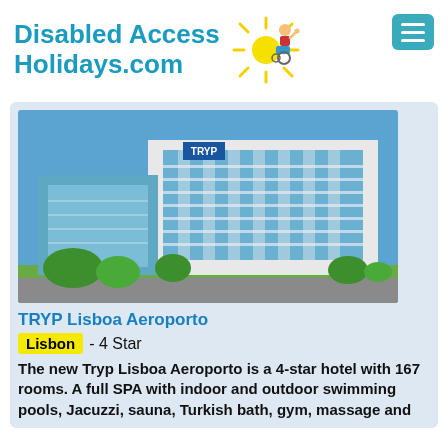Disabled Access Holidays.com
[Figure (logo): Disabled Access Holidays.com logo with sun and cartoon figure in wheelchair, and hamburger menu button]
[Figure (photo): Exterior photo of TRYP Lisboa Aeroporto hotel — a tall modern white and glass building under blue sky with green landscaping]
TRYP Lisboa Aeroporto
Lisbon - 4 Star
The new Tryp Lisboa Aeroporto is a 4-star hotel with 167 rooms. A full SPA with indoor and outdoor swimming pools, Jacuzzi, sauna, Turkish bath, gym, massage and